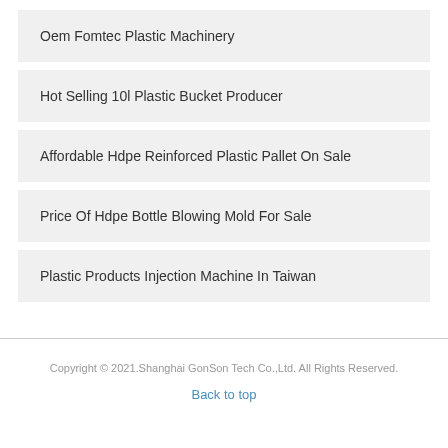Oem Fomtec Plastic Machinery
Hot Selling 10l Plastic Bucket Producer
Affordable Hdpe Reinforced Plastic Pallet On Sale
Price Of Hdpe Bottle Blowing Mold For Sale
Plastic Products Injection Machine In Taiwan
Copyright © 2021.Shanghai GonSon Tech Co.,Ltd. All Rights Reserved.
Back to top